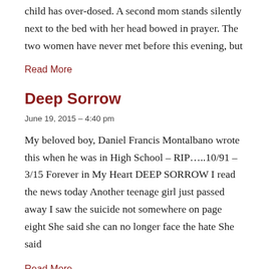child has over-dosed. A second mom stands silently next to the bed with her head bowed in prayer. The two women have never met before this evening, but
Read More
Deep Sorrow
June 19, 2015 – 4:40 pm
My beloved boy, Daniel Francis Montalbano wrote this when he was in High School – RIP…..10/91 – 3/15 Forever in My Heart DEEP SORROW I read the news today Another teenage girl just passed away I saw the suicide not somewhere on page eight She said she can no longer face the hate She said
Read More